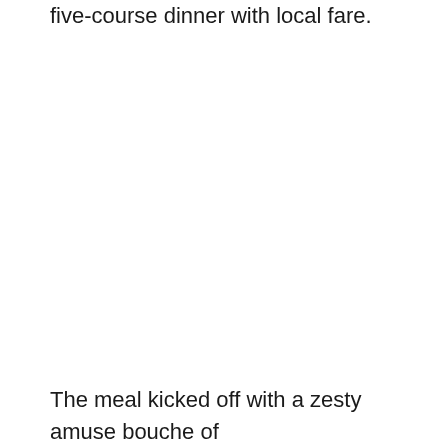five-course dinner with local fare.
The meal kicked off with a zesty amuse bouche of